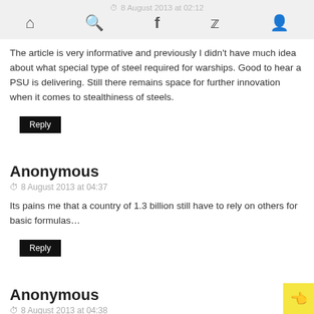8 August 2013 at 02:12
The article is very informative and previously I didn't have much idea about what special type of steel required for warships. Good to hear a PSU is delivering. Still there remains space for further innovation when it comes to stealthiness of steels.
Reply
Anonymous
8 August 2013 at 04:37
Its pains me that a country of 1.3 billion still have to rely on others for basic formulas...
Reply
Anonymous
8 August 2013 at 04:38
Ahhh. Shuklaahhhhh! . Writing fiction now about Russians giving "formula" for ship quality steel called "ABA". Now when "ABA" actually stands for American Bureau of Shipping Grade A , commonly abbreviated as AB/A steel, how can the Russians who have their OWN standards called GOST (that is the Roman li of the Cyrillic) come up with ABA etc classifications ?